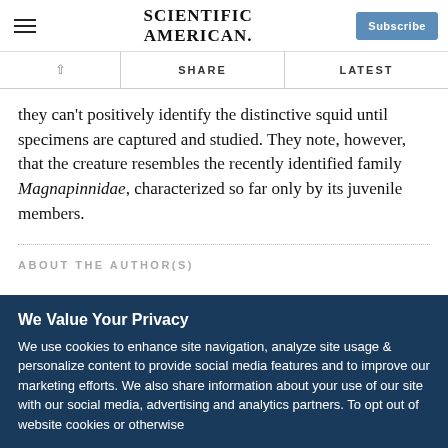SCIENTIFIC AMERICAN
they can't positively identify the distinctive squid until specimens are captured and studied. They note, however, that the creature resembles the recently identified family Magnapinnidae, characterized so far only by its juvenile members.
ABOUT THE AUTHOR(S)
We Value Your Privacy
We use cookies to enhance site navigation, analyze site usage & personalize content to provide social media features and to improve our marketing efforts. We also share information about your use of our site with our social media, advertising and analytics partners. To opt out of website cookies or otherwise